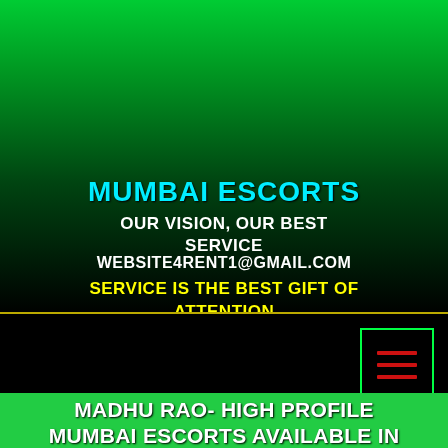MUMBAI ESCORTS
OUR VISION, OUR BEST SERVICE
WEBSITE4RENT1@GMAIL.COM
SERVICE IS THE BEST GIFT OF ATTENTION
[Figure (other): Hamburger menu icon (three red horizontal lines) inside a green-bordered square on black background]
MADHU RAO- HIGH PROFILE MUMBAI ESCORTS AVAILABLE IN